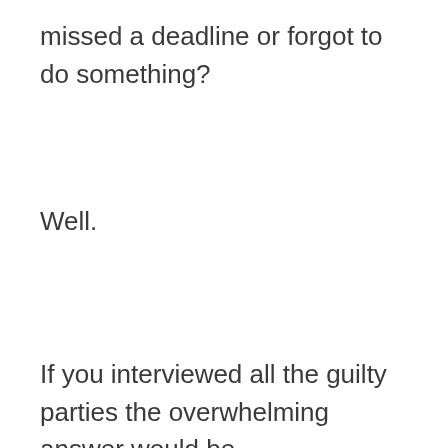missed a deadline or forgot to do something?
Well.
If you interviewed all the guilty parties the overwhelming answer would be,